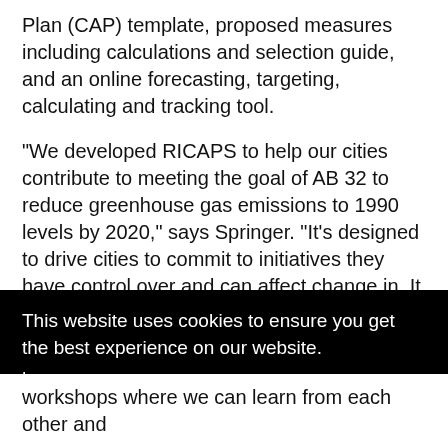Plan (CAP) template, proposed measures including calculations and selection guide, and an online forecasting, targeting, calculating and tracking tool.
“We developed RICAPS to help our cities contribute to meeting the goal of AB 32 to reduce greenhouse gas emissions to 1990 levels by 2020,” says Springer. “It’s designed to drive cities to commit to initiatives they have control over and can affect change in. It gives cities the freedom to
This website uses cookies to ensure you get the best experience on our website.
Learn more
Got it!
workshops where we can learn from each other and